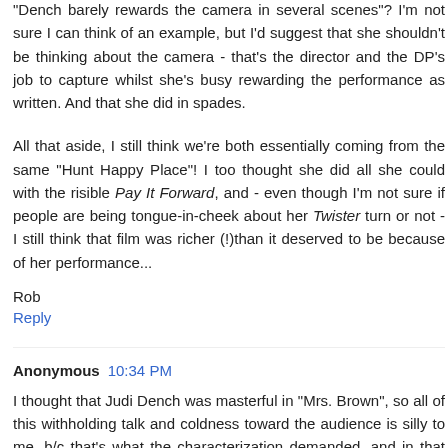"Dench barely rewards the camera in several scenes"? I'm not sure I can think of an example, but I'd suggest that she shouldn't be thinking about the camera - that's the director and the DP's job to capture whilst she's busy rewarding the performance as written. And that she did in spades.
All that aside, I still think we're both essentially coming from the same "Hunt Happy Place"! I too thought she did all she could with the risible Pay It Forward, and - even though I'm not sure if people are being tongue-in-cheek about her Twister turn or not - I still think that film was richer (!)than it deserved to be because of her performance...
Rob
Reply
Anonymous  10:34 PM
I thought that Judi Dench was masterful in "Mrs. Brown", so all of this withholding talk and coldness toward the audience is silly to me, b/c that's what the characterization demanded, and in that respect, she more than delivered at